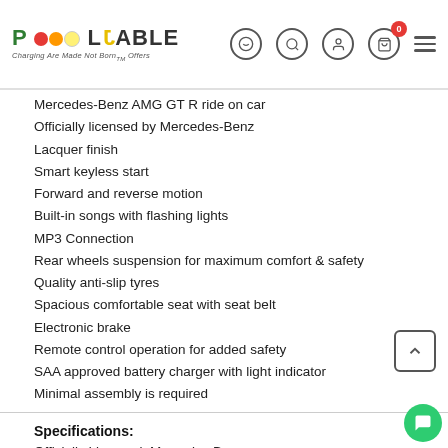Pol Table - Charging Are Made Not Born Offers
Mercedes-Benz AMG GT R ride on car
Officially licensed by Mercedes-Benz
Lacquer finish
Smart keyless start
Forward and reverse motion
Built-in songs with flashing lights
MP3 Connection
Rear wheels suspension for maximum comfort & safety
Quality anti-slip tyres
Spacious comfortable seat with seat belt
Electronic brake
Remote control operation for added safety
SAA approved battery charger with light indicator
Minimal assembly is required
Specifications:
Officially Licensed: Mercedes Benz
Model: AMG GT R
Motor: 30W (2 x 15W)
Battery: 6V4.5AH*2
Speed range: 3-5km/h (Depends on weight)
Speed: hi Speed (1km... Speed...)